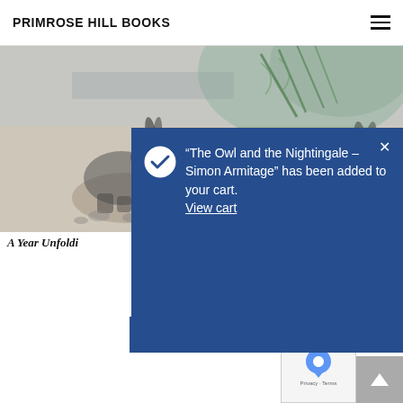PRIMROSE HILL BOOKS
[Figure (illustration): Book cover illustration showing two hares/rabbits and foliage in a monochromatic sketch style on a beige/cream background with green pine branches at top right]
A Year Unfoldi
Harding
£20.00
[Figure (screenshot): Shopping cart notification modal with dark blue background showing checkmark icon and message: "The Owl and the Nightingale – Simon Armitage" has been added to your cart. View cart]
Add To Basket